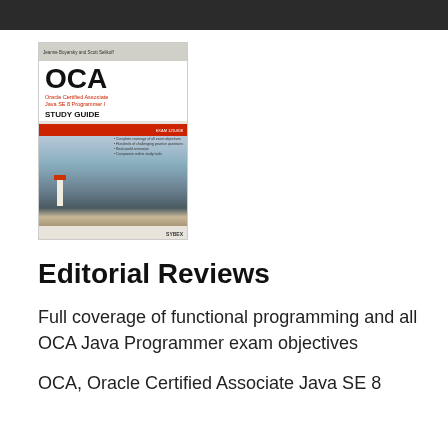[Figure (photo): Book cover of OCA Oracle Certified Associate Java SE 8 Programmer I Study Guide, showing a lighthouse scene. Published by Wiley/Sybex.]
Editorial Reviews
Full coverage of functional programming and all OCA Java Programmer exam objectives
OCA, Oracle Certified Associate Java SE 8